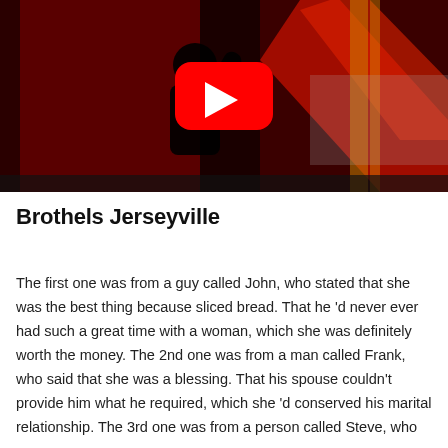[Figure (screenshot): YouTube video thumbnail showing a dark scene with red lighting, a silhouetted person, and a YouTube play button icon in the center.]
Brothels Jerseyville
The first one was from a guy called John, who stated that she was the best thing because sliced bread. That he 'd never ever had such a great time with a woman, which she was definitely worth the money. The 2nd one was from a man called Frank, who said that she was a blessing. That his spouse couldn't provide him what he required, which she 'd conserved his marital relationship. The 3rd one was from a person called Steve, who